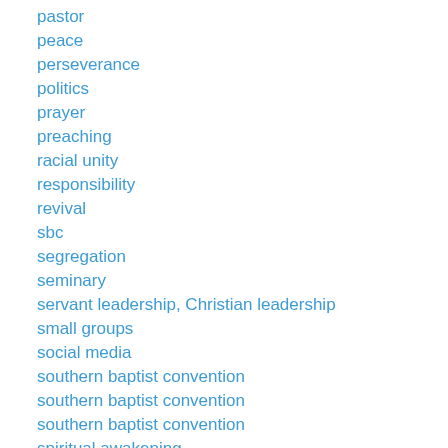pastor
peace
perseverance
politics
prayer
preaching
racial unity
responsibility
revival
sbc
segregation
seminary
servant leadership, Christian leadership
small groups
social media
southern baptist convention
southern baptist convention
southern baptist convention
spiritual awakening
spiritual gifts